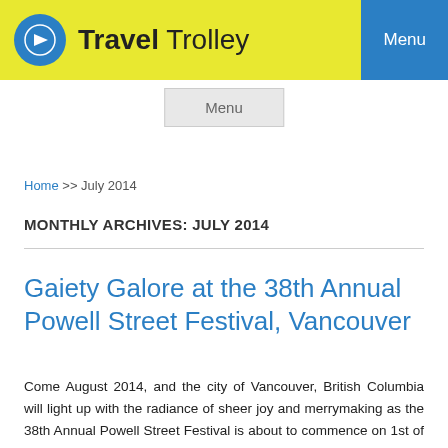Travel Trolley | Menu
Menu
Home >> July 2014
MONTHLY ARCHIVES: JULY 2014
Gaiety Galore at the 38th Annual Powell Street Festival, Vancouver
Come August 2014, and the city of Vancouver, British Columbia will light up with the radiance of sheer joy and merrymaking as the 38th Annual Powell Street Festival is about to commence on 1st of August and will continue till